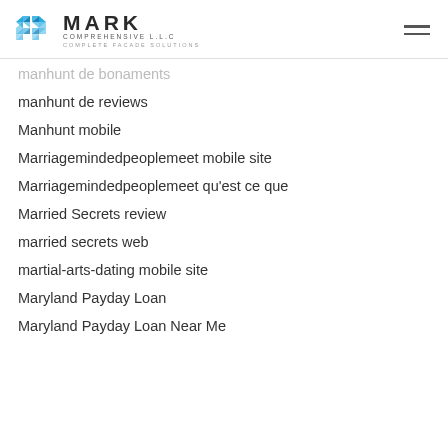[Figure (logo): Mark Comprehensive LLC logo with geometric blue snowflake/diamond pattern icon and text MARK COMPREHENSIVE L.L.C COMPLETE FACADE SOLUTIONS]
manhunt de bonaments (partial, cut off)
manhunt de reviews
Manhunt mobile
Marriagemindedpeoplemeet mobile site
Marriagemindedpeoplemeet qu'est ce que
Married Secrets review
married secrets web
martial-arts-dating mobile site
Maryland Payday Loan
Maryland Payday Loan Near Me